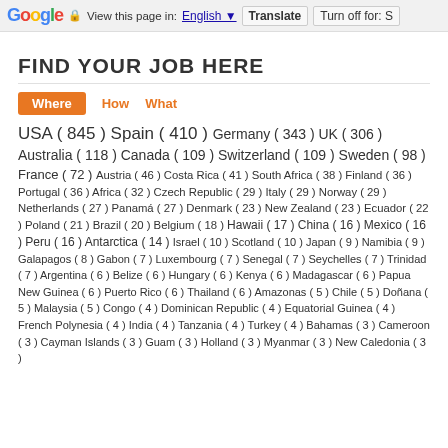Google  View this page in: English [▼]  Translate  Turn off for: S
FIND YOUR JOB HERE
Where  How  What
USA ( 845 ) Spain ( 410 ) Germany ( 343 ) UK ( 306 ) Australia ( 118 ) Canada ( 109 ) Switzerland ( 109 ) Sweden ( 98 ) France ( 72 ) Austria ( 46 ) Costa Rica ( 41 ) South Africa ( 38 ) Finland ( 36 ) Portugal ( 36 ) Africa ( 32 ) Czech Republic ( 29 ) Italy ( 29 ) Norway ( 29 ) Netherlands ( 27 ) Panamá ( 27 ) Denmark ( 23 ) New Zealand ( 23 ) Ecuador ( 22 ) Poland ( 21 ) Brazil ( 20 ) Belgium ( 18 ) Hawaii ( 17 ) China ( 16 ) Mexico ( 16 ) Peru ( 16 ) Antarctica ( 14 ) Israel ( 10 ) Scotland ( 10 ) Japan ( 9 ) Namibia ( 9 ) Galapagos ( 8 ) Gabon ( 7 ) Luxembourg ( 7 ) Senegal ( 7 ) Seychelles ( 7 ) Trinidad ( 7 ) Argentina ( 6 ) Belize ( 6 ) Hungary ( 6 ) Kenya ( 6 ) Madagascar ( 6 ) Papua New Guinea ( 6 ) Puerto Rico ( 6 ) Thailand ( 6 ) Amazonas ( 5 ) Chile ( 5 ) Doñana ( 5 ) Malaysia ( 5 ) Congo ( 4 ) Dominican Republic ( 4 ) Equatorial Guinea ( 4 ) French Polynesia ( 4 ) India ( 4 ) Tanzania ( 4 ) Turkey ( 4 ) Bahamas ( 3 ) Cameroon ( 3 ) Cayman Islands ( 3 ) Guam ( 3 ) Holland ( 3 ) Myanmar ( 3 ) New Caledonia ( 3 )